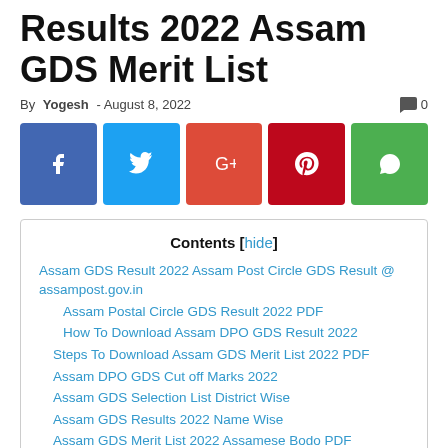Results 2022 Assam GDS Merit List
By Yogesh - August 8, 2022   0
[Figure (infographic): Social share buttons: Facebook, Twitter, Google+, Pinterest, WhatsApp]
Contents [hide]
Assam GDS Result 2022 Assam Post Circle GDS Result @ assampost.gov.in
Assam Postal Circle GDS Result 2022 PDF
How To Download Assam DPO GDS Result 2022
Steps To Download Assam GDS Merit List 2022 PDF
Assam DPO GDS Cut off Marks 2022
Assam GDS Selection List District Wise
Assam GDS Results 2022 Name Wise
Assam GDS Merit List 2022 Assamese Bodo PDF
Selection Procedure of Assam GDS Posts
Important Links To Download Assam GDS Results 2022